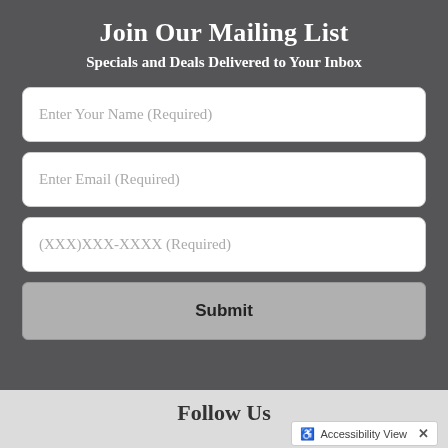Join Our Mailing List
Specials and Deals Delivered to Your Inbox
Enter Your Name (Required)
Enter Email (Required)
(XXX)XXX-XXXX (Required)
Submit
Follow Us
Accessibility View